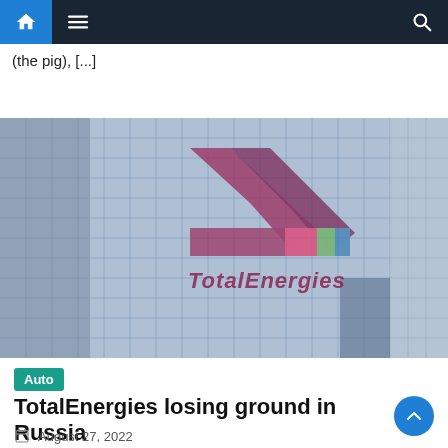Navigation bar with home, menu, and search icons
(the pig), [...]
[Figure (photo): Photograph of a glass office building facade with the TotalEnergies logo displayed across multiple floors. The logo shows the multicolored TotalEnergies branding in red, purple, green, and blue on the reflective glass exterior.]
Auto
TotalEnergies losing ground in Russia
August 27, 2022
admin